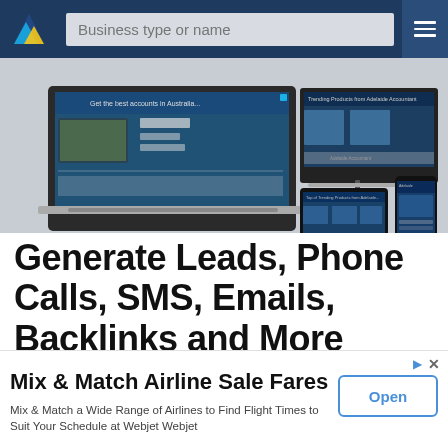[Figure (screenshot): Website navigation bar with logo, search field 'Business type or name', and hamburger menu on dark blue background]
[Figure (screenshot): Hero image showing responsive website mockups on laptop, desktop monitor, tablet, and mobile phone screens displaying Adelaide Accountant website]
Generate Leads, Phone Calls, SMS, Emails, Backlinks and More
✓ Correct Any Errors in Your Listing with Adelaide
Accountant
[Figure (screenshot): Advertisement banner: Mix & Match Airline Sale Fares. Mix & Match a Wide Range of Airlines to Find Flight Times to Suit Your Schedule at Webjet Webjet. Open button.]